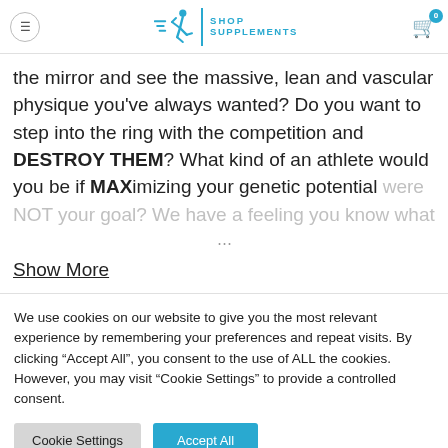Shop Supplements - Logo header with hamburger menu and shopping cart
the mirror and see the massive, lean and vascular physique you've always wanted? Do you want to step into the ring with the competition and DESTROY THEM? What kind of an athlete would you be if MAXimizing your genetic potential were NOT your goal? We have a feeling you know what
Show More
We use cookies on our website to give you the most relevant experience by remembering your preferences and repeat visits. By clicking "Accept All", you consent to the use of ALL the cookies. However, you may visit "Cookie Settings" to provide a controlled consent.